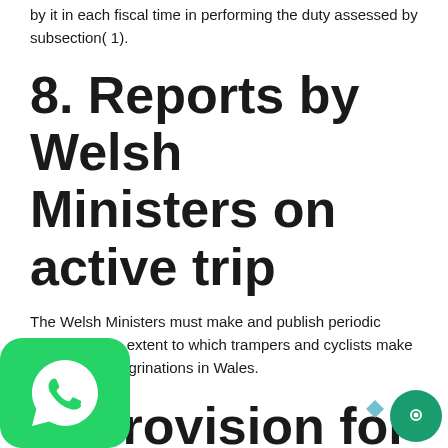by it in each fiscal time in performing the duty assessed by subsection( 1).
8. Reports by Welsh Ministers on active trip
The Welsh Ministers must make and publish periodic reports on the extent to which trampers and cyclists make active trip peregrinations in Wales.
9. Provision for ampers and cyclists in exercise of certain